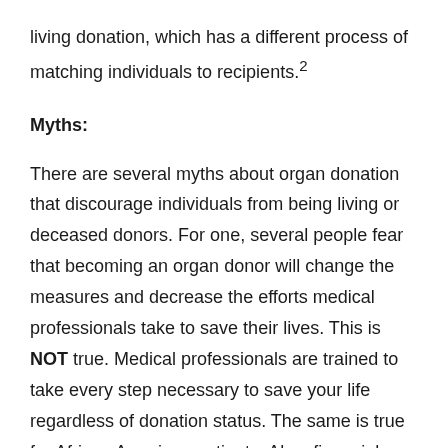living donation, which has a different process of matching individuals to recipients.²
Myths:
There are several myths about organ donation that discourage individuals from being living or deceased donors. For one, several people fear that becoming an organ donor will change the measures and decrease the efforts medical professionals take to save their lives. This is NOT true. Medical professionals are trained to take every step necessary to save your life regardless of donation status. The same is true for African American patients. Also, financial status does not play a part in who receives a transplant first. The United States has laws in place